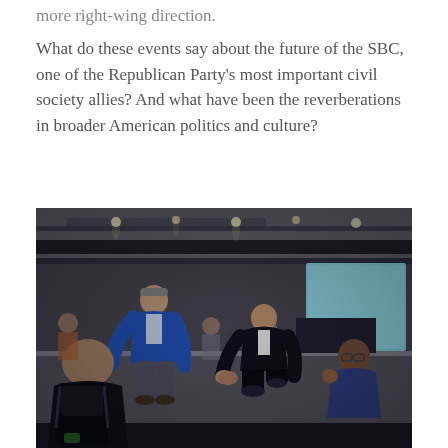more right-wing direction.
What do these events say about the future of the SBC, one of the Republican Party's most important civil society allies? And what have been the reverberations in broader American politics and culture?
[Figure (photo): Indoor convention or conference hall scene. A man kneeling on a stage is shaking hands with a seated man below the stage edge. Another man in a blue jacket is leaning over nearby. A bald man with a backpack is visible in the foreground. Stage lighting and screens are visible in the background.]